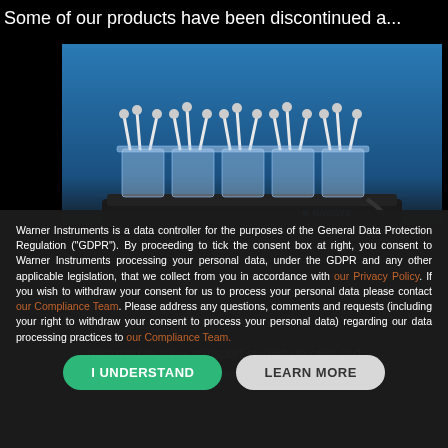Some of our products have been discontinued a...
[Figure (photo): Laboratory perfusion chamber system with multiple clear acrylic chambers mounted on a black base, with tubes and connectors, brand name Navisys visible]
Warner Instruments is a data controller for the purposes of the General Data Protection Regulation ("GDPR"). By proceeding to tick the consent box at right, you consent to Warner Instruments processing your personal data, under the GDPR and any other applicable legislation, that we collect from you in accordance with our Privacy Policy. If you wish to withdraw your consent for us to process your personal data please contact our Compliance Team. Please address any questions, comments and requests (including your right to withdraw your consent to process your personal data) regarding our data processing practices to our Compliance Team.
designed to allow transport studies on cells and tissues ... system features six